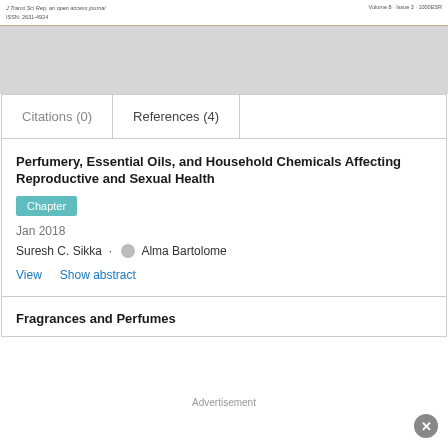J Transl Sci Rep, an open access journal
ISSN: 2631-4924
Volume 8 · Issue 3 · 1000ESR
[Figure (other): Gray advertisement banner placeholder]
Citations (0)    References (4)
Perfumery, Essential Oils, and Household Chemicals Affecting Reproductive and Sexual Health
Chapter
Jan 2018
Suresh C. Sikka · Alma Bartolome
View    Show abstract
Fragrances and Perfumes
Advertisement